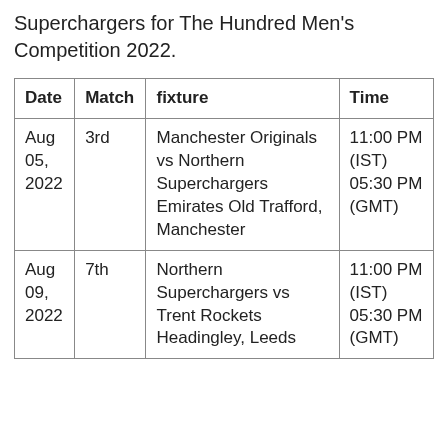Superchargers for The Hundred Men's Competition 2022.
| Date | Match | fixture | Time |
| --- | --- | --- | --- |
| Aug 05, 2022 | 3rd | Manchester Originals vs Northern Superchargers Emirates Old Trafford, Manchester | 11:00 PM (IST) 05:30 PM (GMT) |
| Aug 09, 2022 | 7th | Northern Superchargers vs Trent Rockets Headingley, Leeds | 11:00 PM (IST) 05:30 PM (GMT) |